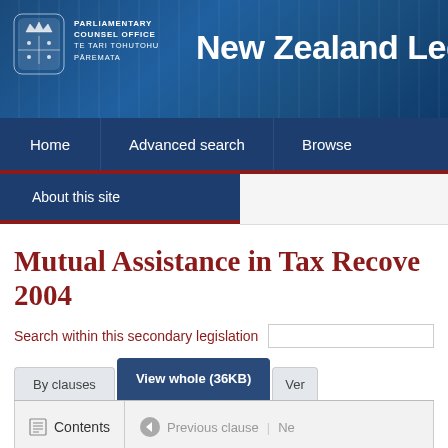[Figure (logo): New Zealand Parliamentary Counsel Office logo with emblem and Te Tari Tohutohu Pāremata text, alongside 'New Zealand Legis...' site title on blue banner]
Home | Advanced search | Browse
About this site
Mutual Assistance in Tax Recovery 2004
Search within this secondary legislation
By clauses | View whole (36KB) | Ver...
Contents | Previous clause | Ne...